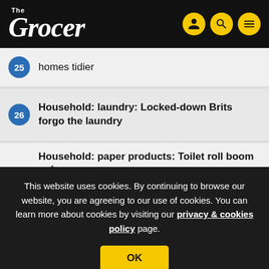The Grocer
25 homes tidier
26 Household: laundry: Locked-down Brits forgo the laundry
Household: paper products: Toilet roll boom only
This website uses cookies. By continuing to browse our website, you are agreeing to our use of cookies. You can learn more about cookies by visiting our privacy & cookies policy page.
29 free